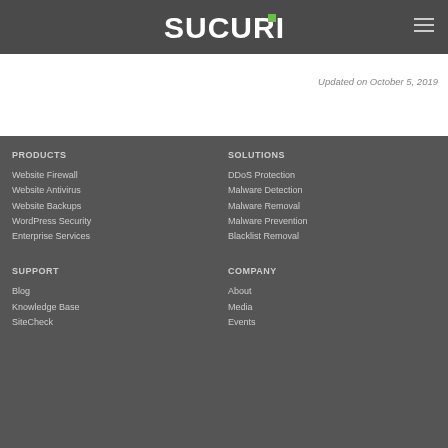[Figure (logo): Sucuri logo in white text on dark gray navigation bar]
Updated on October 5, 2019
PRODUCTS
Website Firewall
Website Antivirus
Website Backups
WordPress Security
Enterprise Services
SOLUTIONS
DDoS Protection
Malware Detection
Malware Removal
Malware Prevention
Blacklist Removal
SUPPORT
Blog
Knowledge Base
SiteCheck
COMPANY
About
Media
Events